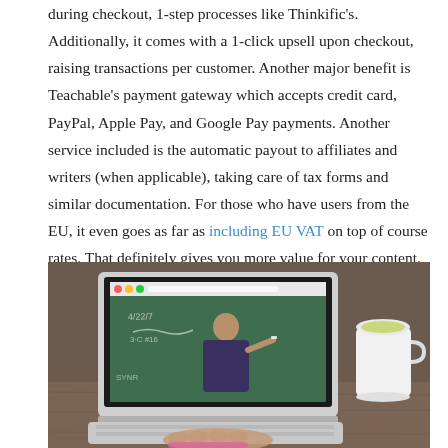during checkout, 1-step processes like Thinkific's. Additionally, it comes with a 1-click upsell upon checkout, raising transactions per customer. Another major benefit is Teachable's payment gateway which accepts credit card, PayPal, Apple Pay, and Google Pay payments. Another service included is the automatic payout to affiliates and writers (when applicable), taking care of tax forms and similar documentation. For those who have users from the EU, it even goes as far as including EU VAT on top of course rates. That definitely gives you more value for your content. Click here to check out pricing for Teachable.
[Figure (photo): A person using a MacBook Air laptop showing a teacher writing on a chalkboard in an online course video, with a cup of coffee/latte next to the laptop on a wooden desk.]